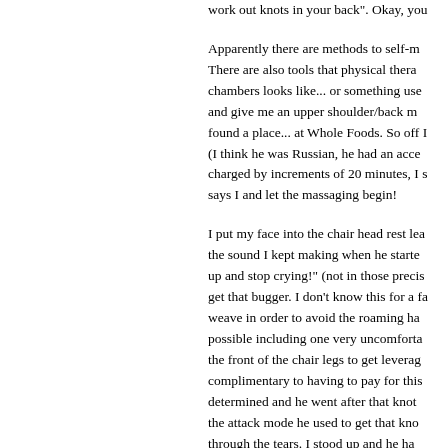work out knots in your back". Okay, you [text continues]

Apparently there are methods to self-m[assage...] There are also tools that physical thera[pists use...] chambers looks like... or something use[d...] and give me an upper shoulder/back m[assage...] found a place... at Whole Foods. So off I[...] (I think he was Russian, he had an acce[nt]) charged by increments of 20 minutes, I s[aid...] says I and let the massaging begin!

I put my face into the chair head rest lea[ning forward] the sound I kept making when he starte[d...] up and stop crying!" (not in those precis[e words...) get that bugger. I don't know this for a fa[ct...] weave in order to avoid the roaming ha[nds...] possible including one very uncomforta[ble position] the front of the chair legs to get leverag[e...] complimentary to having to pay for this [...] determined and he went after that knot[...] the attack mode he used to get that kno[t...] through the tears. I stood up and he ha[d...] being beat up from the neck to shoulde[rs...]

A day later the knot came back. Damn it[...]